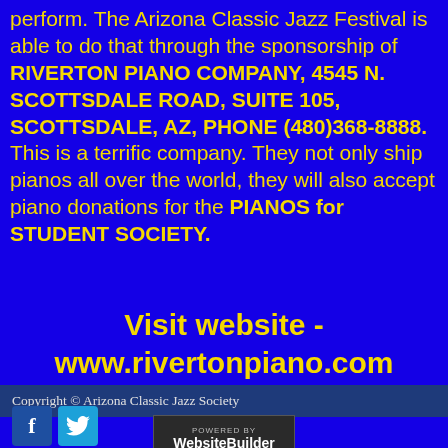perform.  The Arizona Classic Jazz Festival is able to do that through the sponsorship of RIVERTON PIANO COMPANY, 4545 N. SCOTTSDALE ROAD, SUITE 105, SCOTTSDALE, AZ, PHONE (480)368-8888.  This is a terrific company.  They not only ship pianos all over the world, they will also accept piano donations for the PIANOS for STUDENT SOCIETY.
Visit website - www.rivertonpiano.com
Copyright © Arizona Classic Jazz Society
[Figure (logo): Powered by WebsiteBuilder badge]
[Figure (logo): Facebook and Twitter social media icons]